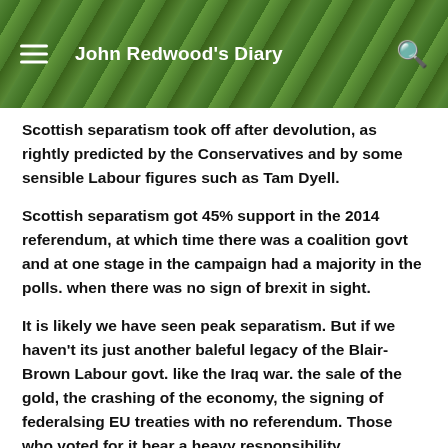John Redwood's Diary
Scottish separatism took off after devolution, as rightly predicted by the Conservatives and by some sensible Labour figures such as Tam Dyell.
Scottish separatism got 45% support in the 2014 referendum, at which time there was a coalition govt and at one stage in the campaign had a majority in the polls. when there was no sign of brexit in sight.
It is likely we have seen peak separatism. But if we haven't its just another baleful legacy of the Blair-Brown Labour govt. like the Iraq war. the sale of the gold, the crashing of the economy, the signing of federalsing EU treaties with no referendum. Those who voted for it bear a heavy responsibility.